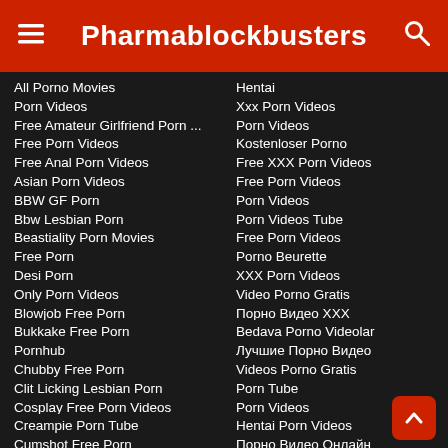Pharmablockbusters
All Porno Movies
Porn Videos
Free Amateur Girlfriend Porn ...
Free Porn Videos
Free Anal Porn Videos
Asian Porn Videos
BBW GF Porn
Bbw Lesbian Porn
Beastiality Porn Movies
Free Porn
Desi Porn
Only Porn Videos
Blowjob Free Porn
Bukkake Free Porn
Pornhub
Chubby Free Porn
Clit Licking Lesbian Porn
Cosplay Free Porn Videos
Creampie Porn Tube
Cumshot Free Porn
Hentai
Xxx Porn Videos
Porn Videos
Kostenloser Porno
Free XXX Porn Videos
Free Porn Videos
Porn Videos
Porn Videos Tube
Free Porn Videos
Porno Beurette
XXX Porn Videos
Video Porno Gratis
Порно Видео XXX
Bedava Porno Videolar
Лучшие Порно Видео
Videos Porno Gratis
Porn Tube
Porn Videos
Hentai Porn Videos
Порно Видео Онлайн